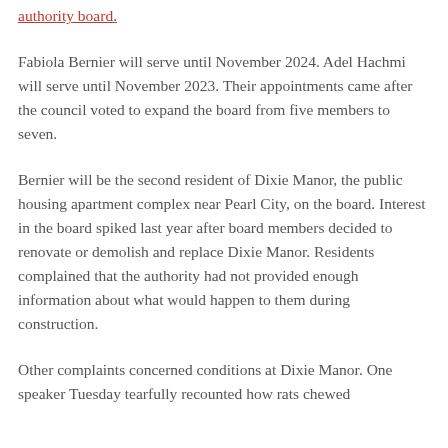authority board.
Fabiola Bernier will serve until November 2024. Adel Hachmi will serve until November 2023. Their appointments came after the council voted to expand the board from five members to seven.
Bernier will be the second resident of Dixie Manor, the public housing apartment complex near Pearl City, on the board. Interest in the board spiked last year after board members decided to renovate or demolish and replace Dixie Manor. Residents complained that the authority had not provided enough information about what would happen to them during construction.
Other complaints concerned conditions at Dixie Manor. One speaker Tuesday tearfully recounted how rats chewed on her...